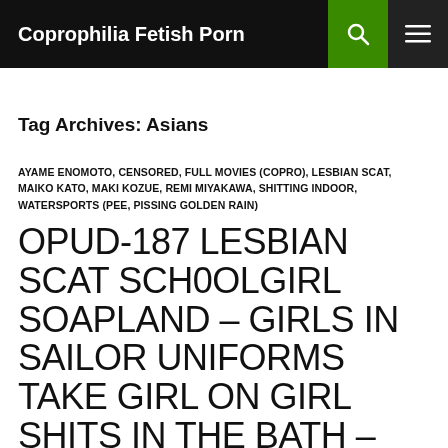Coprophilia Fetish Porn
Tag Archives: Asians
AYAME ENOMOTO, CENSORED, FULL MOVIES (COPRO), LESBIAN SCAT, MAIKO KATO, MAKI KOZUE, REMI MIYAKAWA, SHITTING INDOOR, WATERSPORTS (PEE, PISSING GOLDEN RAIN)
OPUD-187 LESBIAN SCAT SCHOOLGIRL SOAPLAND – GIRLS IN SAILOR UNIFORMS TAKE GIRL ON GIRL SHITS IN THE BATH – REMI MIYAKAWA AYAME